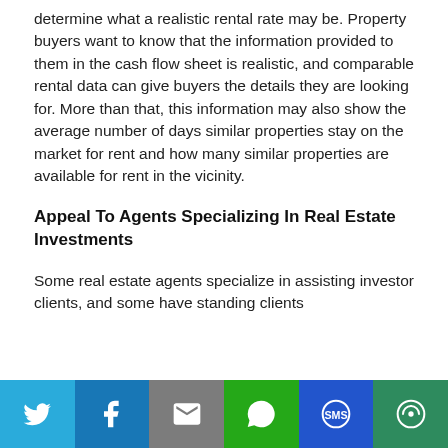determine what a realistic rental rate may be. Property buyers want to know that the information provided to them in the cash flow sheet is realistic, and comparable rental data can give buyers the details they are looking for. More than that, this information may also show the average number of days similar properties stay on the market for rent and how many similar properties are available for rent in the vicinity.
Appeal To Agents Specializing In Real Estate Investments
Some real estate agents specialize in assisting investor clients, and some have standing clients
[Figure (infographic): Social sharing bar with icons for Twitter, Facebook, Email, WhatsApp, SMS, and More]